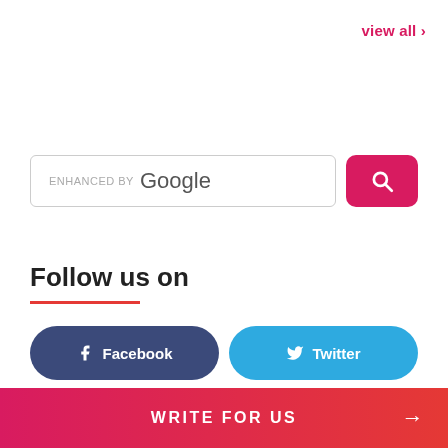view all >
[Figure (screenshot): Google enhanced search box with pink search button containing magnifying glass icon]
Follow us on
[Figure (infographic): Social media follow buttons: Facebook (dark blue), Twitter (light blue), Instagram (pink), Linkdin (teal)]
WRITE FOR US →